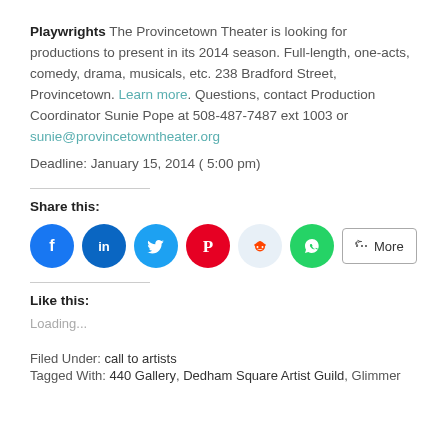Playwrights The Provincetown Theater is looking for productions to present in its 2014 season. Full-length, one-acts, comedy, drama, musicals, etc. 238 Bradford Street, Provincetown. Learn more. Questions, contact Production Coordinator Sunie Pope at 508-487-7487 ext 1003 or sunie@provincetowntheater.org
Deadline:  January 15, 2014 ( 5:00 pm)
Share this:
[Figure (infographic): Social share buttons: Facebook (blue circle), LinkedIn (dark blue circle), Twitter (light blue circle), Pinterest (red circle), Reddit (light blue circle), WhatsApp (green circle), and a More button]
Like this:
Loading...
Filed Under: call to artists
Tagged With: 440 Gallery, Dedham Square Artist Guild, Glimmer